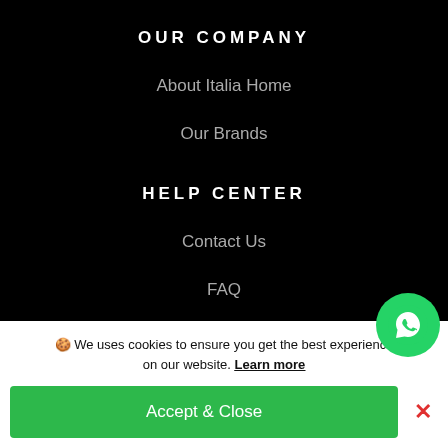OUR COMPANY
About Italia Home
Our Brands
HELP CENTER
Contact Us
FAQ
🍪 We uses cookies to ensure you get the best experience on our website. Learn more
Accept & Close